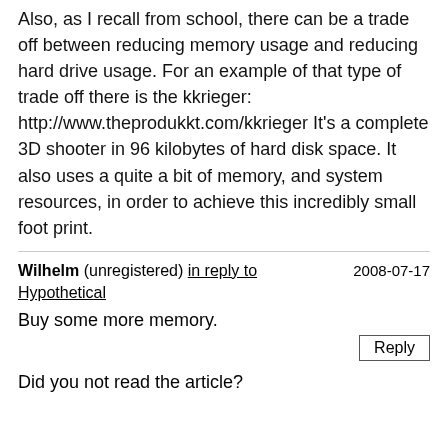Also, as I recall from school, there can be a trade off between reducing memory usage and reducing hard drive usage. For an example of that type of trade off there is the kkrieger: http://www.theprodukkt.com/kkrieger It's a complete 3D shooter in 96 kilobytes of hard disk space. It also uses a quite a bit of memory, and system resources, in order to achieve this incredibly small foot print.
Wilhelm (unregistered) in reply to Hypothetical 2008-07-17 Buy some more memory.
Did you not read the article?